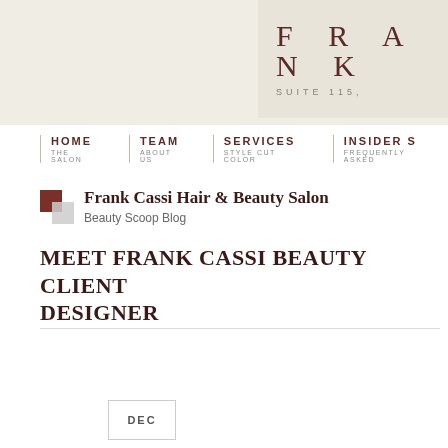FRANK
SUITE 115,
HOME THE SALON | TEAM ABOUT US | SERVICES STYLE CUT COLOR | INSIDER S FREQUENTLY ASKED
Frank Cassi Hair & Beauty Salon
Beauty Scoop Blog
MEET FRANK CASSI BEAUTY CLIENT DESIGNER
DEC